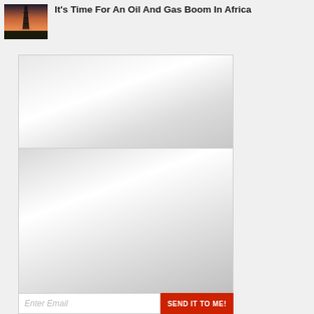[Figure (photo): Thumbnail photo of an oil rig/drilling tower silhouetted against a sunset sky]
It's Time For An Oil And Gas Boom In Africa
[Figure (other): Advertisement placeholder box (upper), light gray gradient]
[Figure (other): Advertisement placeholder box (lower), gray gradient]
Enter Email
SEND IT TO ME!